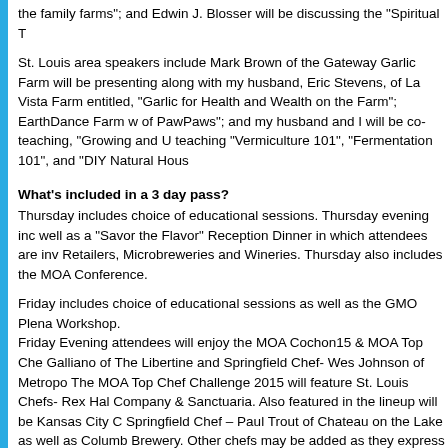the family farms"; and Edwin J. Blosser will be discussing the “Spiritual T
St. Louis area speakers include Mark Brown of the Gateway Garlic Farm will be presenting along with my husband, Eric Stevens, of La Vista Farm entitled, “Garlic for Health and Wealth on the Farm"; EarthDance Farm w of PawPaws"; and my husband and I will be co-teaching, “Growing and U teaching “Vermiculture 101”, “Fermentation 101”, and “DIY Natural Hous
What’s included in a 3 day pass?
Thursday includes choice of educational sessions. Thursday evening inc well as a “Savor the Flavor” Reception Dinner in which attendees are inv Retailers, Microbreweries and Wineries. Thursday also includes the MO Conference.
Friday includes choice of educational sessions as well as the GMO Plen Workshop.
Friday Evening attendees will enjoy the MOA Cochon15 & MOA Top Che Galliano of The Libertine and Springfield Chef- Wes Johnson of Metropo The MOA Top Chef Challenge 2015 will feature St. Louis Chefs- Rex Ha Company & Sanctuaria. Also featured in the lineup will be Kansas City C Springfield Chef – Paul Trout of Chateau on the Lake as well as Columb Brewery. Other chefs may be added as they express interest.
Friday evening includes a Banquet Dinner of local organic and sustainab